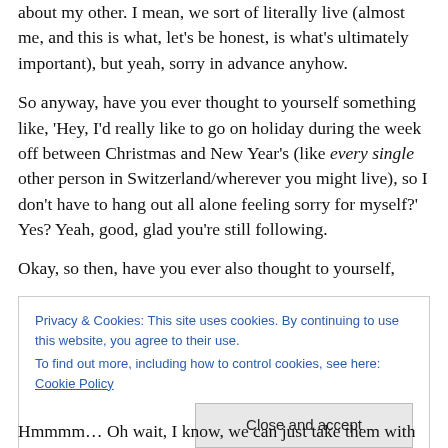about my other. I mean, we sort of literally live (almost) me, and this is what, let's be honest, is what's ultimately important), but yeah, sorry in advance anyhow.
So anyway, have you ever thought to yourself something like, 'Hey, I'd really like to go on holiday during the week off between Christmas and New Year's (like every single other person in Switzerland/wherever you might live), so I don't have to hang out all alone feeling sorry for myself?' Yes? Yeah, good, glad you're still following.
Okay, so then, have you ever also thought to yourself,
Privacy & Cookies: This site uses cookies. By continuing to use this website, you agree to their use.
To find out more, including how to control cookies, see here: Cookie Policy
Hmmmm… Oh wait, I know, we can just take them with